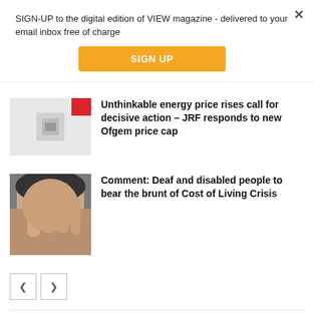SIGN-UP to the digital edition of VIEW magazine - delivered to your email inbox free of charge
SIGN UP
Unthinkable energy price rises call for decisive action – JRF responds to new Ofgem price cap
Comment: Deaf and disabled people to bear the brunt of Cost of Living Crisis
[Figure (other): Navigation arrows: left and right]
[Figure (other): Social media icons: Facebook, LinkedIn, Twitter, YouTube]
Search